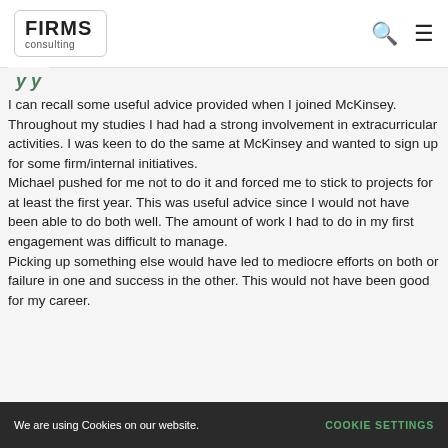FIRMS consulting
I can recall some useful advice provided when I joined McKinsey. Throughout my studies I had had a strong involvement in extracurricular activities. I was keen to do the same at McKinsey and wanted to sign up for some firm/internal initiatives. Michael pushed for me not to do it and forced me to stick to projects for at least the first year. This was useful advice since I would not have been able to do both well. The amount of work I had to do in my first engagement was difficult to manage. Picking up something else would have led to mediocre efforts on both or failure in one and success in the other. This would not have been good for my career.
We are using Cookies on our website. COOKIE SETTINGS